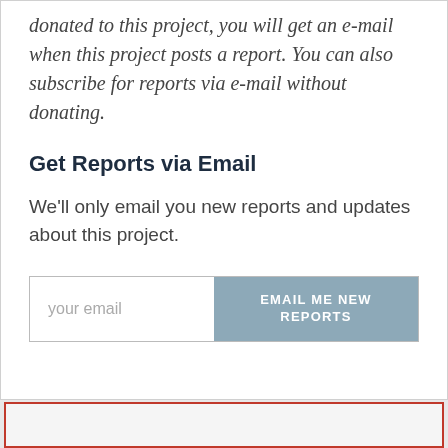donated to this project, you will get an e-mail when this project posts a report. You can also subscribe for reports via e-mail without donating.
Get Reports via Email
We'll only email you new reports and updates about this project.
your email | EMAIL ME NEW REPORTS